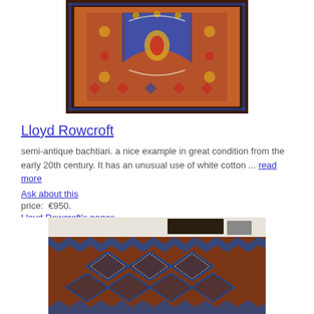[Figure (photo): Top portion of a semi-antique Persian Bachtiari rug with intricate floral and geometric patterns in red, blue, and cream colors]
Lloyd Rowcroft
semi-antique bachtiari. a nice example in great condition from the early 20th century. It has an unusual use of white cotton ... read more
Ask about this
price:  €950.
Lloyd Rowcroft's pages
[Figure (photo): Bottom portion of a dark blue and rust-red tribal rug with diamond geometric patterns arranged in a grid, partially visible on a shelf]